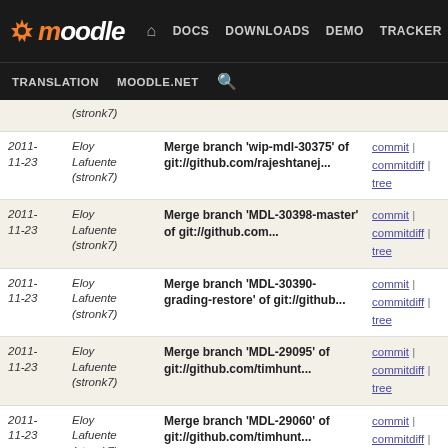Moodle navigation: DOCS DOWNLOADS DEMO TRACKER DEV | TRANSLATION MOODLE.NET
| Date | Author | Message | Links |
| --- | --- | --- | --- |
| 2011-11-23 | Eloy Lafuente (stronk7) | Merge branch 'wip-mdl-30375' of git://github.com/rajeshtanej... | commit | commitdiff | tree |
| 2011-11-23 | Eloy Lafuente (stronk7) | Merge branch 'MDL-30398-master' of git://github.com... | commit | commitdiff | tree |
| 2011-11-23 | Eloy Lafuente (stronk7) | Merge branch 'MDL-30390-grading-restore' of git://github... | commit | commitdiff | tree |
| 2011-11-23 | Eloy Lafuente (stronk7) | Merge branch 'MDL-29095' of git://github.com/timhunt... | commit | commitdiff | tree |
| 2011-11-23 | Eloy Lafuente (stronk7) | Merge branch 'MDL-29060' of git://github.com/timhunt... | commit | commitdiff | tree |
| 2011-11-23 | Eloy Lafuente (stronk7) | Merge branch 'wip-mdl-28947' of git://github.com/rajeshtanej... | commit | commitdiff | tree |
| 2011-11-23 | Eloy Lafuente (stronk7) | Merge branch 'MDL-30165-master-1' of git://git.luns... | commit | commitdiff | tree |
| 2011-11-23 | Eloy Lafuente | Merge branch 'master_MDL-25757' of git://github.com... | commit | commitdiff | tree |